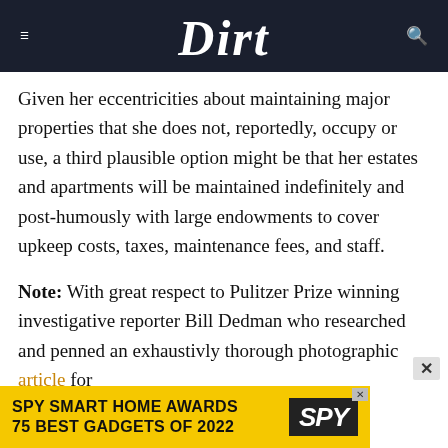Dirt
Given her eccentricities about maintaining major properties that she does not, reportedly, occupy or use, a third plausible option might be that her estates and apartments will be maintained indefinitely and post-humously with large endowments to cover upkeep costs, taxes, maintenance fees, and staff.
Note: With great respect to Pulitzer Prize winning investigative reporter Bill Dedman who researched and penned an exhaustivly thorough photographic article for
[Figure (other): SPY Smart Home Awards advertisement banner: yellow background with bold black text 'SPY SMART HOME AWARDS / 75 BEST GADGETS OF 2022' and SPY logo in white on black background]